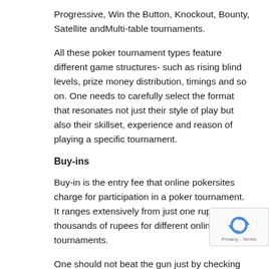Progressive, Win the Button, Knockout, Bounty, Satellite andMulti-table tournaments.
All these poker tournament types feature different game structures- such as rising blind levels, prize money distribution, timings and so on. One needs to carefully select the format that resonates not just their style of play but also their skillset, experience and reason of playing a specific tournament.
Buy-ins
Buy-in is the entry fee that online pokersites charge for participation in a poker tournament. It ranges extensively from just one rupee to thousands of rupees for different online poker tournaments.
One should not beat the gun just by checking the prize pools but should take due time and take baby steps wh... playing a poker for real money. Study the game thoroughly